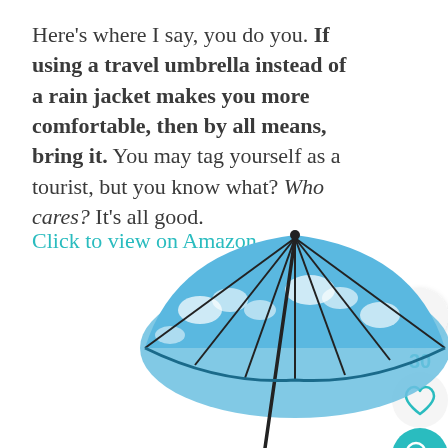Here's where I say, you do you. If using a travel umbrella instead of a rain jacket makes you more comfortable, then by all means, bring it. You may tag yourself as a tourist, but you know what? Who cares? It's all good.
Click to view on Amazon →
[Figure (photo): An open travel umbrella with a blue sky and white clouds pattern, viewed from slightly below and to the side, against a white background. UI buttons visible on right side: up arrow button, number 30, heart button, and teal search button.]